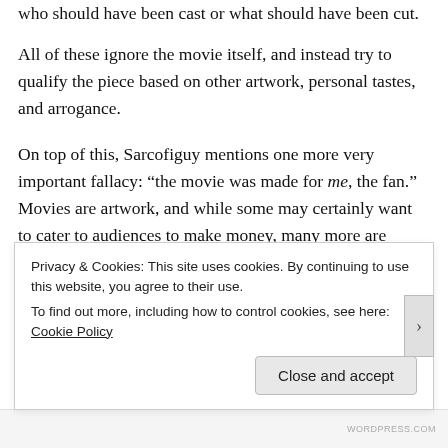who should have been cast or what should have been cut.
All of these ignore the movie itself, and instead try to qualify the piece based on other artwork, personal tastes, and arrogance.
On top of this, Sarcofiguy mentions one more very important fallacy: “the movie was made for me, the fan.” Movies are artwork, and while some may certainly want to cater to audiences to make money, many more are beholden to no one but their own vision. If directors have been known to leave projects because the producers were trying to change their piece too much, why would they stick around and cater to audiences? The only person to blame if you feel slighted or offended by a film is yourself.
Privacy & Cookies: This site uses cookies. By continuing to use this website, you agree to their use.
To find out more, including how to control cookies, see here: Cookie Policy
Close and accept